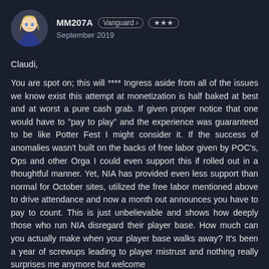MM207A  Vanguard >  ★★★  September 2019
Claudi,

You are spot on; this will **** Ingress aside from all of the issues we know exist this attempt at monetization is half baked at best and at worst a pure cash grab. If given proper notice that one would have to "pay to play" and the experience was guaranteed to be like Potter Fest I might consider it. If the success of anomalies wasn't built on the backs of free labor given by POC's, Ops and other Orga I could even support this if rolled out in a thoughtful manner. Yet, NIA has provided even less support than normal for October sites, utilized the free labor mentioned above to drive attendance and now a month out announces you have to pay to count. This is just unbelievable and shows how deeply those who run NIA disregard their player base. How much can you actually make when your player base walks away? It's been a year of screwups leading to player mistrust and nothing really surprises me anymore but welcome